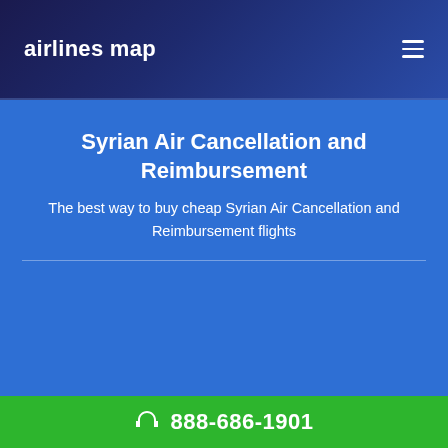airlines map
Syrian Air Cancellation and Reimbursement
The best way to buy cheap Syrian Air Cancellation and Reimbursement flights
888-686-1901